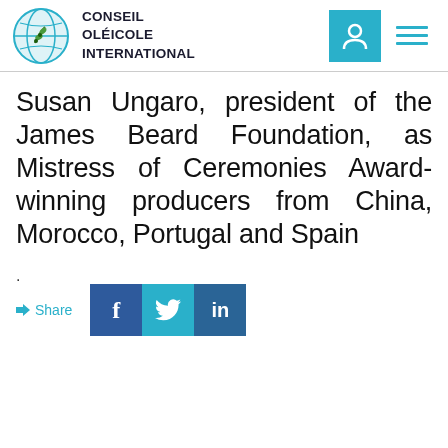CONSEIL OLÉICOLE INTERNATIONAL
Susan Ungaro, president of the James Beard Foundation, as Mistress of Ceremonies Award-winning producers from China, Morocco, Portugal and Spain
.
Share